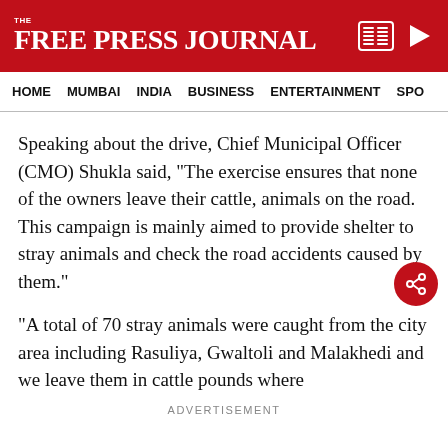THE FREE PRESS JOURNAL
HOME   MUMBAI   INDIA   BUSINESS   ENTERTAINMENT   SPO
Speaking about the drive, Chief Municipal Officer (CMO) Shukla said, “The exercise ensures that none of the owners leave their cattle, animals on the road. This campaign is mainly aimed to provide shelter to stray animals and check the road accidents caused by them.”
“A total of 70 stray animals were caught from the city area including Rasuliya, Gwaltoli and Malakhedi and we leave them in cattle pounds where
ADVERTISEMENT